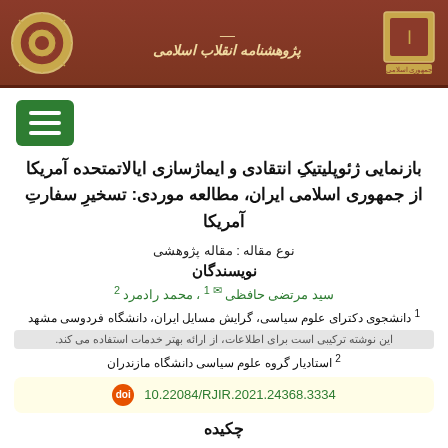پژوهشنامه انقلاب اسلامی
[Figure (logo): Decorative circular logo on left side of header banner]
[Figure (logo): Institutional seal logo on right side of header banner]
بازنمایی ژئوپلیتیکِ انتقادی و ایماژسازی ایالاتمتحده آمریکا از جمهوری اسلامی ایران، مطالعه موردی: تسخیرِ سفارتِ آمریکا
نوع مقاله : مقاله پژوهشی
نویسندگان
سید مرتضی حافظی 1 ✉ ، محمد رادمرد 2
1 دانشجوی دکترای علوم سیاسی، گرایش مسایل ایران، دانشگاه فردوسی مشهد
2 استادیار گروه علوم سیاسی دانشگاه مازندران
10.22084/RJIR.2021.24368.3334
چکیده